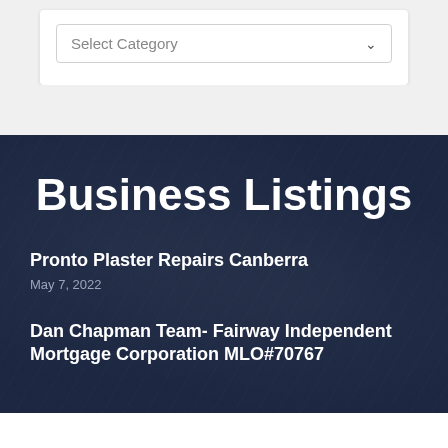[Figure (screenshot): A dropdown select input labeled 'Select Category' with a chevron arrow, inside a white card on a light grey background.]
Business Listings
Pronto Plaster Repairs Canberra
May 7, 2022
Dan Chapman Team- Fairway Independent Mortgage Corporation MLO#70767